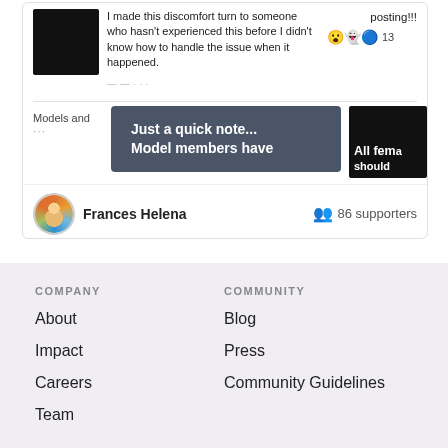[Figure (screenshot): Social media card showing a post with black thumbnail image, text about someone not having experienced an issue before and not knowing how to handle it, a dark banner saying 'Just a quick note... Model members have', a dark image with text 'All fema should', emoji reactions with 13, divider, Models and label, and at the bottom Frances Helena with a colorful avatar and 86 supporters.]
About
Impact
Careers
Team
Blog
Press
Community Guidelines